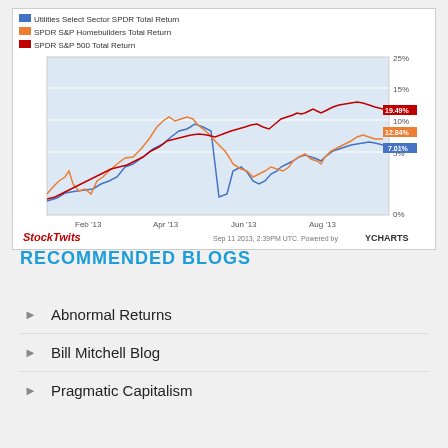[Figure (continuous-plot): Line chart showing three series from Jan 2013 to Sep 2013: Utilities Select Sector SPDR Total Return (blue, ends at 7.01%), SPDR S&P Homebuilders Total Return (orange, ends at 12.84%), SPDR S&P 500 Total Return (red, ends at 19.48%). Y-axis: 0% to 25%. X-axis: Feb '13, Apr '13, Jun '13, Aug '13. Source: StockTwits, Sep 11 2013, 2:39PM UTC. Powered by YCHARTS.]
RECOMMENDED BLOGS
Abnormal Returns
Bill Mitchell Blog
Pragmatic Capitalism